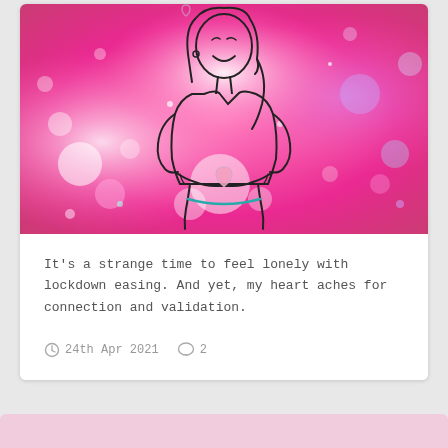[Figure (illustration): Line drawing illustration of a smiling woman with long hair holding a small pink heart in her hands, set against a vivid pink and magenta bokeh/sparkle background.]
It's a strange time to feel lonely with lockdown easing. And yet, my heart aches for connection and validation.
24th Apr 2021   2